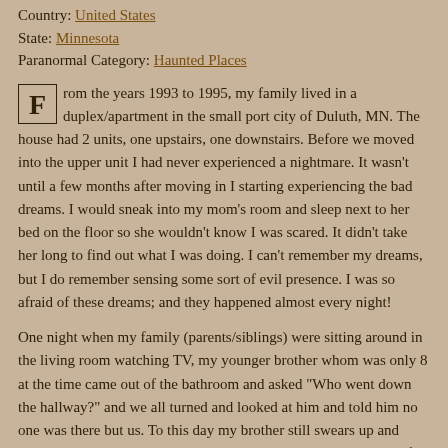Country: United States
State: Minnesota
Paranormal Category: Haunted Places
From the years 1993 to 1995, my family lived in a duplex/apartment in the small port city of Duluth, MN. The house had 2 units, one upstairs, one downstairs. Before we moved into the upper unit I had never experienced a nightmare. It wasn't until a few months after moving in I starting experiencing the bad dreams. I would sneak into my mom's room and sleep next to her bed on the floor so she wouldn't know I was scared. It didn't take her long to find out what I was doing. I can't remember my dreams, but I do remember sensing some sort of evil presence. I was so afraid of these dreams; and they happened almost every night!
One night when my family (parents/siblings) were sitting around in the living room watching TV, my younger brother whom was only 8 at the time came out of the bathroom and asked "Who went down the hallway?" and we all turned and looked at him and told him no one was there but us. To this day my brother still swears up and down he saw "someone" walk down the hallway. It wasn't long after this that my sister saw "something" at the corner of her eye too.